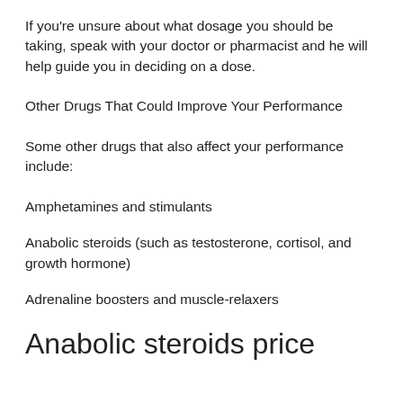If you're unsure about what dosage you should be taking, speak with your doctor or pharmacist and he will help guide you in deciding on a dose.
Other Drugs That Could Improve Your Performance
Some other drugs that also affect your performance include:
Amphetamines and stimulants
Anabolic steroids (such as testosterone, cortisol, and growth hormone)
Adrenaline boosters and muscle-relaxers
Anabolic steroids price